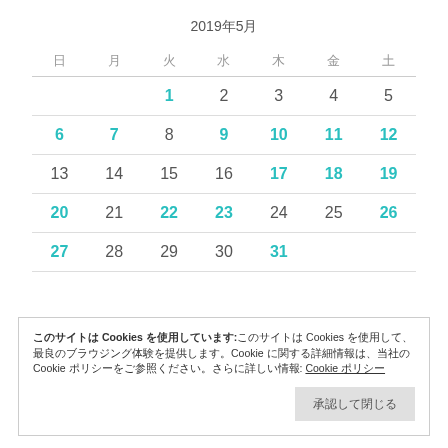2019年5月
| 日 | 月 | 火 | 水 | 木 | 金 | 土 |
| --- | --- | --- | --- | --- | --- | --- |
|  |  | 1 | 2 | 3 | 4 | 5 |
| 6 | 7 | 8 | 9 | 10 | 11 | 12 |
| 13 | 14 | 15 | 16 | 17 | 18 | 19 |
| 20 | 21 | 22 | 23 | 24 | 25 | 26 |
| 27 | 28 | 29 | 30 | 31 |  |  |
このサイトは Cookies を使用しています。このサイトは Cookies を使用して、最良のブラウジング体験を提供します。Cookie に関する詳細情報は、当社の Cookie ポリシーをご参照ください。さらに詳しい情報: Cookie ポリシー